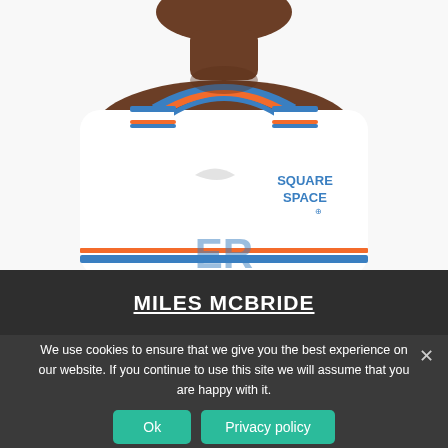[Figure (photo): Basketball player Miles McBride wearing a New York Knicks white home jersey with blue and orange trim, with SQUARE SPACE sponsor logo visible on the chest. Photo shows player from chest/collar up, face partially visible at top.]
MILES MCBRIDE
We use cookies to ensure that we give you the best experience on our website. If you continue to use this site we will assume that you are happy with it.